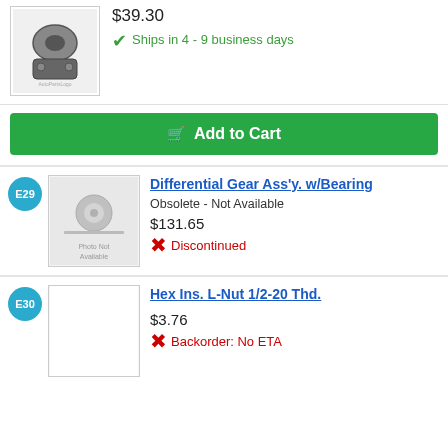$39.30
Ships in 4 - 9 business days
Add to Cart
E29
Differential Gear Ass'y. w/Bearing
Obsolete - Not Available
$131.65
Discontinued
E30
Hex Ins. L-Nut 1/2-20 Thd.
$3.76
Backorder: No ETA